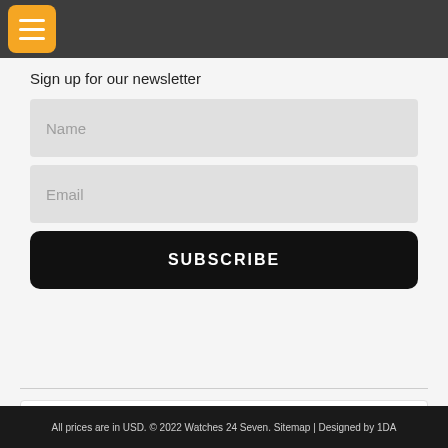Navigation menu with hamburger button
Sign up for our newsletter
Name
Email
SUBSCRIBE
[Figure (logo): Payment method logos: Visa, MasterCard, American Express, PayPal, eBay, International Watch & Jewelry Guild]
All prices are in USD. © 2022 Watches 24 Seven. Sitemap | Designed by 1DA